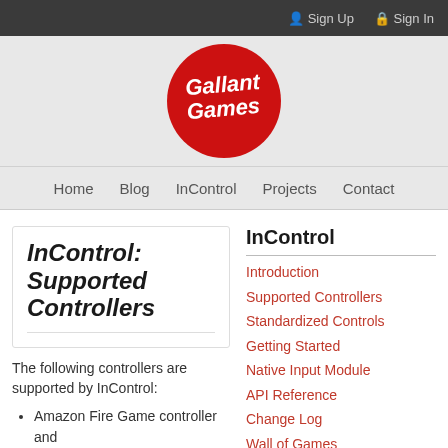Sign Up  Sign In
[Figure (logo): Gallant Games circular red logo with white bold italic text]
Home  Blog  InControl  Projects  Contact
InControl: Supported Controllers
The following controllers are supported by InControl:
Amazon Fire Game controller and
InControl
Introduction
Supported Controllers
Standardized Controls
Getting Started
Native Input Module
API Reference
Change Log
Wall of Games
Downloads
Purchase